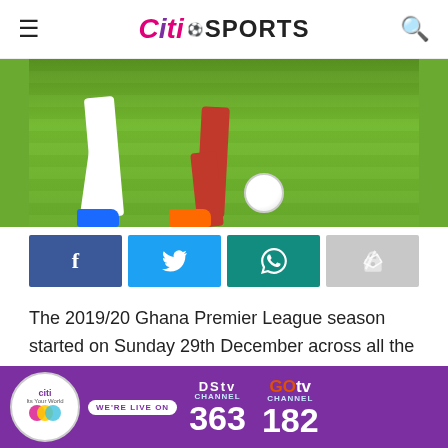Citi SPORTS
[Figure (photo): Soccer players' legs on a green field, one in white kit and one in red kit, with a football near their feet]
[Figure (infographic): Social share buttons: Facebook (blue), Twitter (light blue), WhatsApp (teal), Share (grey)]
The 2019/20 Ghana Premier League season started on Sunday 29th December across all the nine league centres in the country with some big names picking up full points and some also dropping maximum points
[Figure (infographic): Advertisement banner: Citi TV live on DStv Channel 363 and GOtv Channel 182]